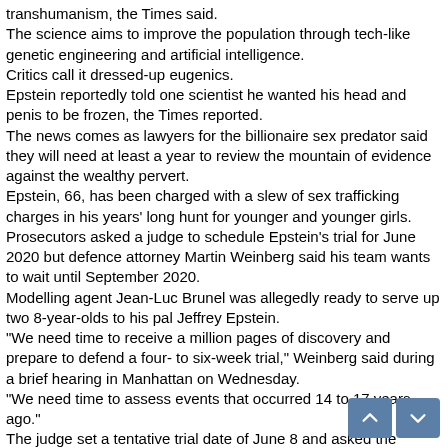transhumanism, the Times said. The science aims to improve the population through tech-like genetic engineering and artificial intelligence. Critics call it dressed-up eugenics. Epstein reportedly told one scientist he wanted his head and penis to be frozen, the Times reported. The news comes as lawyers for the billionaire sex predator said they will need at least a year to review the mountain of evidence against the wealthy pervert. Epstein, 66, has been charged with a slew of sex trafficking charges in his years' long hunt for younger and younger girls. Prosecutors asked a judge to schedule Epstein's trial for June 2020 but defence attorney Martin Weinberg said his team wants to wait until September 2020. Modelling agent Jean-Luc Brunel was allegedly ready to serve up two 8-year-olds to his pal Jeffrey Epstein. “We need time to receive a million pages of discovery and prepare to defend a four- to six-week trial,” Weinberg said during a brief hearing in Manhattan on Wednesday. “We need time to assess events that occurred 14 to 17 years ago.” The judge set a tentative trial date of June 8 and asked the parties to keep him updated on their progress. Epstein has pleaded not guilty and said he has fully complied with